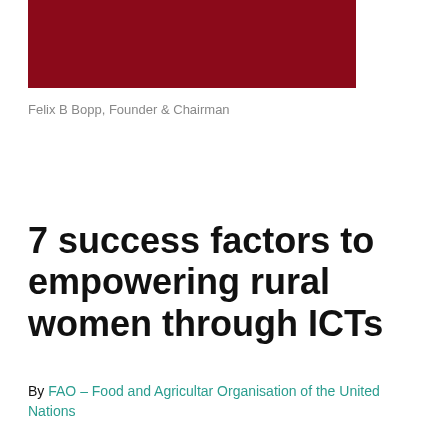[Figure (photo): Dark red/maroon rectangular image at the top of the page]
Felix B Bopp, Founder & Chairman
7 success factors to empowering rural women through ICTs
By FAO – Food and Agricultar Organisation of the United Nations